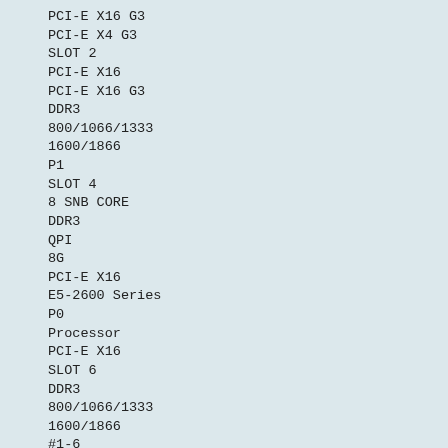PCI-E X16 G3
PCI-E X4 G3
SLOT 2
PCI-E X16
PCI-E X16 G3
DDR3
800/1066/1333
1600/1866
P1
SLOT 4
8 SNB CORE
DDR3
QPI
8G
PCI-E X16
E5-2600 Series
P0
Processor
PCI-E X16
SLOT 6
DDR3
800/1066/1333
1600/1866
#1-6
#1-5
#1-4
#1-3
#1-2
#1-1
#0-6
#0-5
#0-4
#0-3